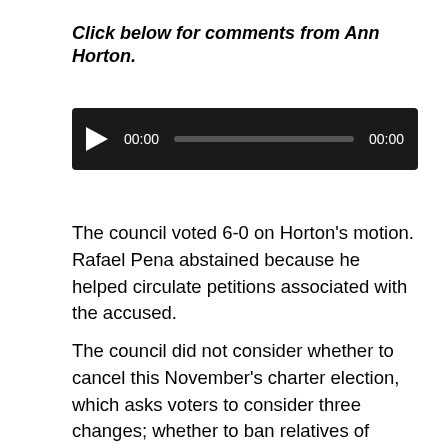Click below for comments from Ann Horton.
[Figure (other): Audio player widget with play button, 00:00 start time, progress bar, and 00:00 end time on dark background]
The council voted 6-0 on Horton’s motion. Rafael Pena abstained because he helped circulate petitions associated with the accused.
The council did not consider whether to cancel this November’s charter election, which asks voters to consider three changes; whether to ban relatives of council members from being hired or appointed to city positions, whether to ban council members from considering items presented by campaign donors of more than $250 dollars, and whether to ban council